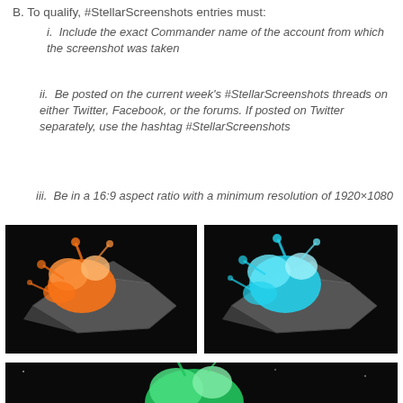B. To qualify, #StellarScreenshots entries must:
i. Include the exact Commander name of the account from which the screenshot was taken
ii. Be posted on the current week's #StellarScreenshots threads on either Twitter, Facebook, or the forums. If posted on Twitter separately, use the hashtag #StellarScreenshots
iii. Be in a 16:9 aspect ratio with a minimum resolution of 1920×1080
[Figure (photo): Spaceship with orange explosion/paint splatter on dark background]
[Figure (photo): Spaceship with blue explosion/paint splatter on dark background]
[Figure (photo): Spaceship with green explosion/paint splatter on dark background (partially visible)]